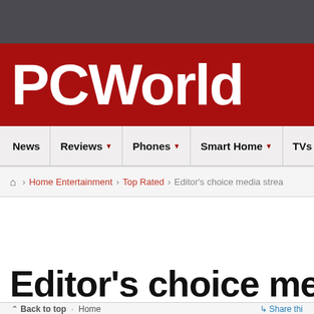[Figure (logo): Dark gray top bar header area]
PCWorld
News | Reviews | Phones | Smart Home | TVs | PC
Home > Home Entertainment > Top Rated > Editor's choice media strea
Editor's choice media stro
Back to top · Home   Share thi